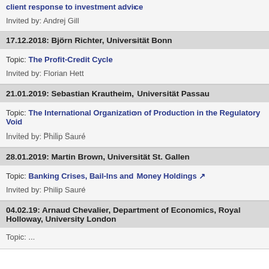client response to investment advice
Invited by: Andrej Gill
17.12.2018: Björn Richter, Universität Bonn
Topic: The Profit-Credit Cycle
Invited by: Florian Hett
21.01.2019: Sebastian Krautheim, Universität Passau
Topic: The International Organization of Production in the Regulatory Void
Invited by: Philip Sauré
28.01.2019: Martin Brown, Universität St. Gallen
Topic: Banking Crises, Bail-Ins and Money Holdings
Invited by: Philip Sauré
04.02.19: Arnaud Chevalier, Department of Economics, Royal Holloway, University London
Topic: ...